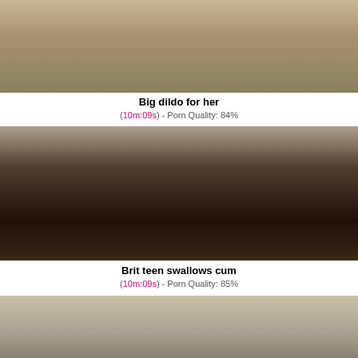[Figure (photo): Video thumbnail showing a woman in a room]
Big dildo for her
(10m:09s) - Porn Quality: 84%
[Figure (photo): Video thumbnail showing a woman on a dark leather couch wearing red sneakers]
Brit teen swallows cum
(10m:09s) - Porn Quality: 85%
[Figure (photo): Partial video thumbnail showing blonde hair]